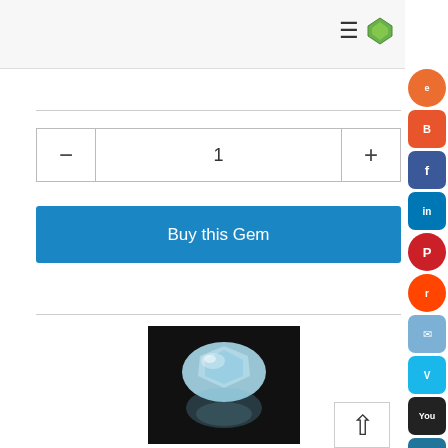[Figure (screenshot): Top navigation bar with hamburger menu icon and gem/diamond logo icon on the right]
[Figure (screenshot): Quantity selector row with minus button, value of 1, and plus button]
[Figure (screenshot): Buy this Gem button in blue]
[Figure (photo): Photo of an oval-cut sky blue zircon gemstone on black background with reflection]
Affordable 5ct Sky Blue Zircon
[Figure (screenshot): Right sidebar with social media sharing icons: Etsy, Blogger, Facebook, LinkedIn, Pinterest, Reddit, Email, Vimeo, YouTube, WordPress, Mendeley, Tumblr, Zing, VK, Facebook]